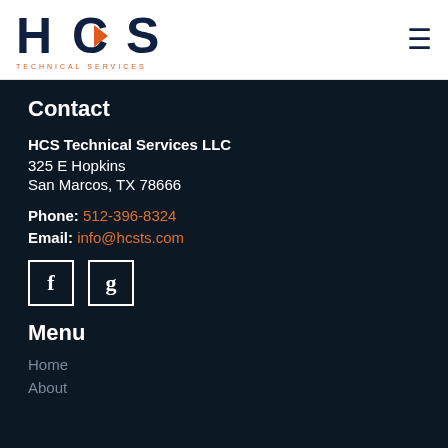[Figure (logo): HCS Technical Services logo with dark navy letters HCS and orange chevron accent, with 'TECHNICAL SERVICES' tagline below in orange]
Contact
HCS Technical Services LLC
325 E Hopkins
San Marcos, TX 78666
Phone: 512-396-8324
Email: info@hcsts.com
[Figure (other): Facebook and Google social media icon boxes with white borders]
Menu
Home
About